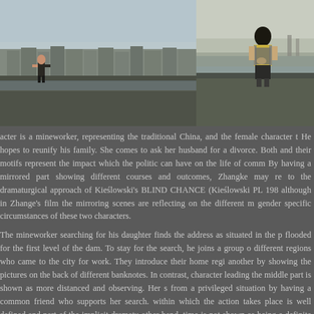[Figure (photo): Left photo: a man (mineworker) standing on a rooftop overlooking a Chinese city with dense buildings and a river below, hazy sky]
[Figure (photo): Right photo: a woman in a yellow top viewed from behind, standing near a misty river or industrial area]
acter is a mineworker, representing the traditional China, and the female character t He hopes to reunify his family. She comes to ask her husband for a divorce. Both and their motifs represent the impact which the politic can have on the life of comm By having a mirrored part showing different courses and outcomes, Zhangke may re to the dramaturgical approach of Kieślowski's BLIND CHANCE (Kieślowski PL 198 although in Zhange's film the mirroring scenes are reflecting on the different m gender specific circumstances of these two characters.
The mineworker searching for his daughter finds the address as situated in the p flooded for the first level of the dam. To stay for the search, he joins a group o different regions who came to the city for work. They introduce their home regi another by showing the pictures on the back of different banknotes. In contrast, character leading the middle part is shown as more distanced and observing. Her s from a privileged situation by having a common friend who supports her search. within which the action takes place is well defined and part of the implicit dramatu other hand, time is not shown as being a definite progress in any of these episodes days and nights but not a naturalistic protocol of the time these characters are spe